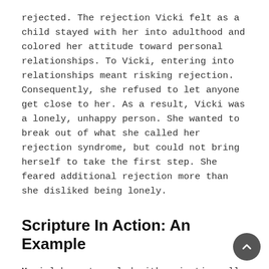rejected. The rejection Vicki felt as a child stayed with her into adulthood and colored her attitude toward personal relationships. To Vicki, entering into relationships meant risking rejection. Consequently, she refused to let anyone get close to her. As a result, Vicki was a lonely, unhappy person. She wanted to break out of what she called her rejection syndrome, but could not bring herself to take the first step. She feared additional rejection more than she disliked being lonely.
Scripture In Action: An Example
Mariel has struggled with rejection all of her life. Beginning in elementary school and on through high school, she never seemed to fit in. When clubs were formed, she wasn't invited to join. When teams were picked, she was left sitting on the sidelines. When parties were held, she wasn't invited. In middle